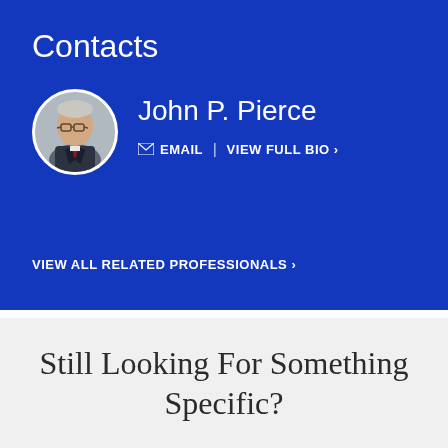Contacts
John P. Pierce
EMAIL | VIEW FULL BIO >
VIEW ALL RELATED PROFESSIONALS >
Still Looking For Something Specific?